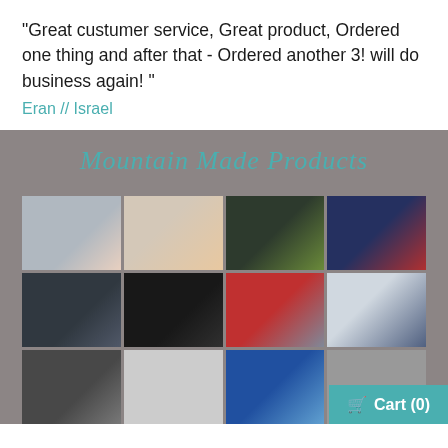"Great custumer service, Great product, Ordered one thing and after that - Ordered another 3! will do business again! "
Eran // Israel
Mountain Made Products
[Figure (photo): Grid of 8 product photos showing outdoor gear including bags, gloves, beanies, headlamps, mittens, and people wearing winter gear, plus a partial bottom row.]